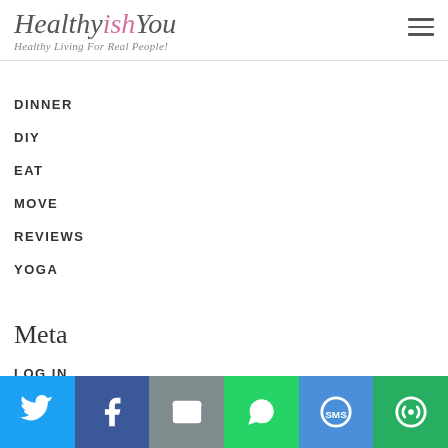HealthyishYou - Healthy Living For Real People!
DINNER
DIY
EAT
MOVE
REVIEWS
YOGA
Meta
LOG IN
[Figure (infographic): Social sharing bar with Twitter, Facebook, Email, WhatsApp, SMS, and More buttons]